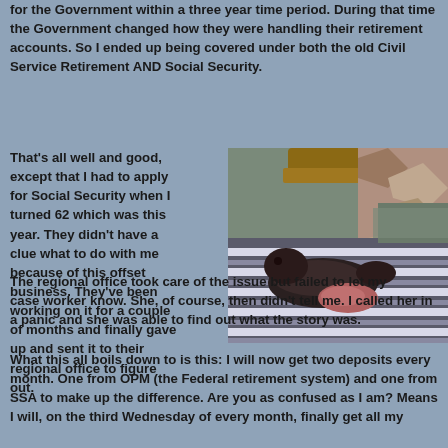for the Government within a three year time period. During that time the Government changed how they were handling their retirement accounts. So I ended up being covered under both the old Civil Service Retirement AND Social Security.
That's all well and good, except that I had to apply for Social Security when I turned 62 which was this year. They didn't have a clue what to do with me because of this offset business. They've been working on it for a couple of months and finally gave up and sent it to their regional office to figure out. The regional office took care of the issue but failed to let my case worker know. She, of course, then didn't tell me. I called her in a panic and she was able to find out what the story was.
[Figure (photo): A dog (appears to be a dachshund mix) lying on a striped blanket or bed, with what looks like stone or rock wall behind it and some furniture visible at the top.]
What this all boils down to is this: I will now get two deposits every month. One from OPM (the Federal retirement system) and one from SSA to make up the difference. Are you as confused as I am? Means I will, on the third Wednesday of every month, finally get all my